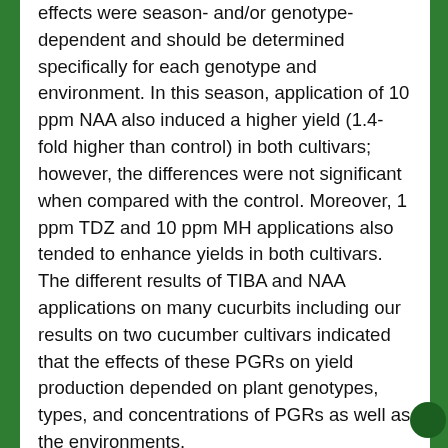effects were season- and/or genotype-dependent and should be determined specifically for each genotype and environment. In this season, application of 10 ppm NAA also induced a higher yield (1.4-fold higher than control) in both cultivars; however, the differences were not significant when compared with the control. Moreover, 1 ppm TDZ and 10 ppm MH applications also tended to enhance yields in both cultivars. The different results of TIBA and NAA applications on many cucurbits including our results on two cucumber cultivars indicated that the effects of these PGRs on yield production depended on plant genotypes, types, and concentrations of PGRs as well as the environments.
Our results suggest that PGR responses on yield are environmentally variable in cucumber. Similarly, Rahman (1970) found that the effects of chemical regulators on cucumber yield (total number of fruits and